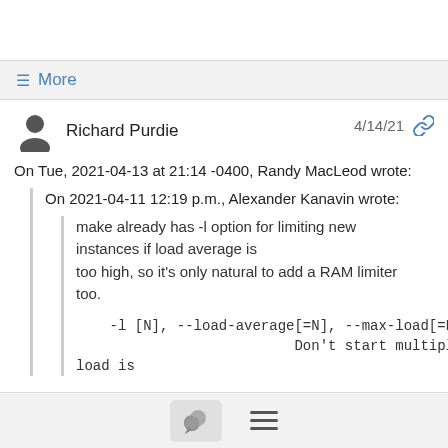More
Richard Purdie   4/14/21
On Tue, 2021-04-13 at 21:14 -0400, Randy MacLeod wrote:
  On 2021-04-11 12:19 p.m., Alexander Kanavin wrote:
    make already has -l option for limiting new instances if load average is too high, so it's only natural to add a RAM limiter too.

    -l [N], --load-average[=N], --max-load[=N]
                              Don't start multiple jobs unless load is